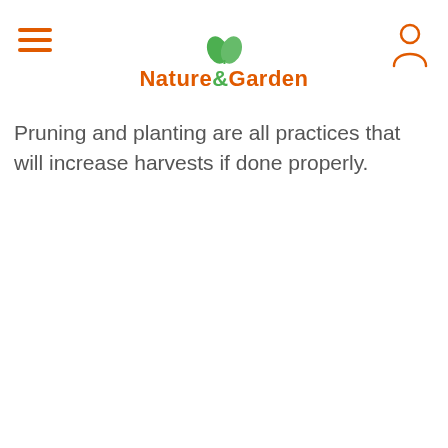Nature & Garden
Pruning and planting are all practices that will increase harvests if done properly.